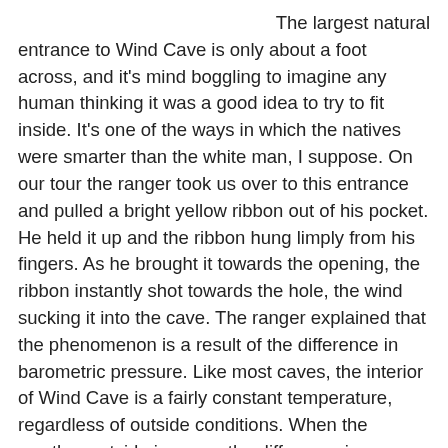The largest natural entrance to Wind Cave is only about a foot across, and it's mind boggling to imagine any human thinking it was a good idea to try to fit inside. It's one of the ways in which the natives were smarter than the white man, I suppose. On our tour the ranger took us over to this entrance and pulled a bright yellow ribbon out of his pocket. He held it up and the ribbon hung limply from his fingers. As he brought it towards the opening, the ribbon instantly shot towards the hole, the wind sucking it into the cave. The ranger explained that the phenomenon is a result of the difference in barometric pressure. Like most caves, the interior of Wind Cave is a fairly constant temperature, regardless of outside conditions. When the weather outside is warm, the difference in pressure causes a wind that rushes into the cave. When the weather is cold, as it must have been the day Tom and Jesse stopped by, the wind blows outward. In theory most caves experience this change in barometric pressure, but the strong wind only happens when the change is squeezed through a small opening. This simple and fascinating scientific fact has been very